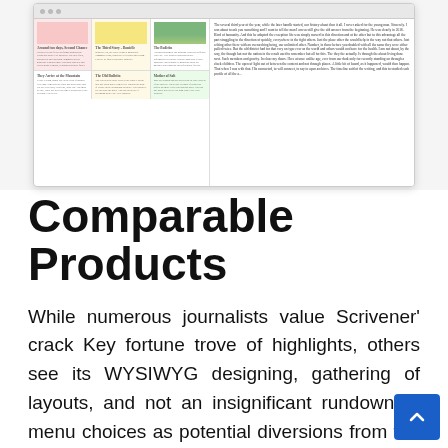[Figure (screenshot): Screenshot of a writing/document application (Scrivener-like) showing a corkboard or card view with multiple document cards arranged in a grid, some with colored backgrounds (pink, yellow, green, white), and a sidebar with text content on the right.]
Comparable Products
While numerous journalists value Scrivener' crack Key fortune trove of highlights, others see its WYSIWYG designing, gathering of layouts, and not an insignificant rundown of menu choices as potential diversions from the keeping in touch with itself. An option application that wipes out overabundance for straightforwardness is Ulysses for MacFree at